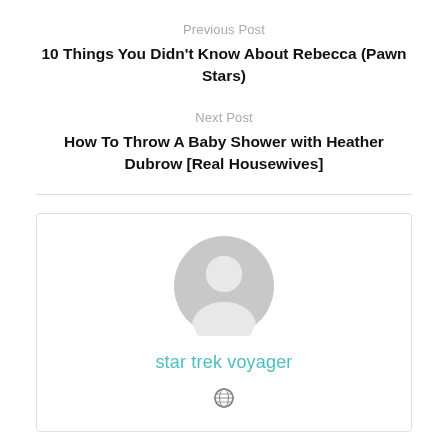Previous Post
10 Things You Didn't Know About Rebecca (Pawn Stars)
Next Post
How To Throw A Baby Shower with Heather Dubrow [Real Housewives]
[Figure (illustration): Author avatar: grey silhouette placeholder icon of a person]
star trek voyager
[Figure (illustration): Small globe/website icon]